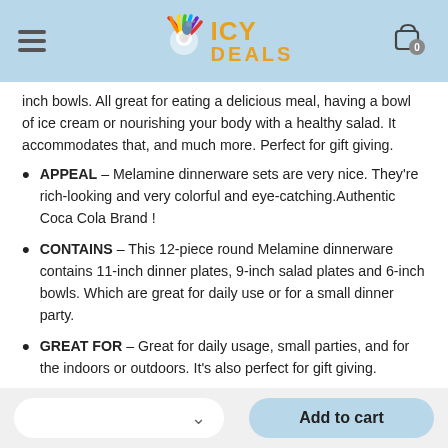ICY DEALS
inch bowls. All great for eating a delicious meal, having a bowl of ice cream or nourishing your body with a healthy salad. It accommodates that, and much more. Perfect for gift giving.
APPEAL – Melamine dinnerware sets are very nice. They're rich-looking and very colorful and eye-catching.Authentic Coca Cola Brand !
CONTAINS – This 12-piece round Melamine dinnerware contains 11-inch dinner plates, 9-inch salad plates and 6-inch bowls. Which are great for daily use or for a small dinner party.
GREAT FOR – Great for daily usage, small parties, and for the indoors or outdoors. It's also perfect for gift giving.